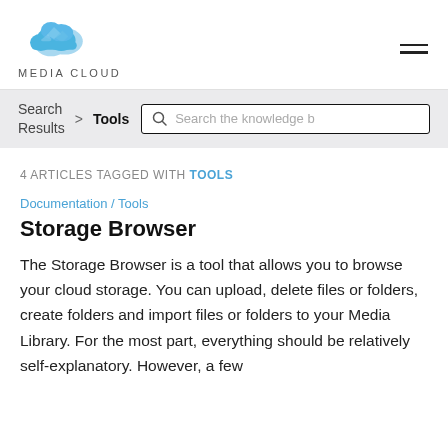[Figure (logo): Media Cloud logo with blue cloud graphic and text MEDIA CLOUD below]
Search Results  >  Tools  Search the knowledge b
4 ARTICLES TAGGED WITH TOOLS
Documentation / Tools
Storage Browser
The Storage Browser is a tool that allows you to browse your cloud storage. You can upload, delete files or folders, create folders and import files or folders to your Media Library. For the most part, everything should be relatively self-explanatory. However, a few